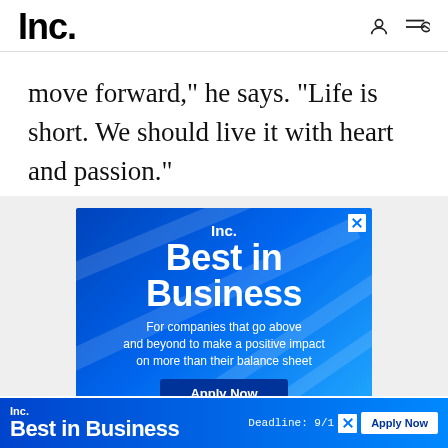Inc.
move forward," he says. "Life is short. We should live it with heart and passion."
[Figure (screenshot): Inc. Best in Business advertisement banner on blue gradient background with 'Apply Now' button and tagline 'For companies that go above and beyond to make a positive impact on more than their balance sheet']
[Figure (screenshot): Inc. Best in Business bottom sticky advertisement bar with 'Deadline: 9/1' and 'Apply Now' button]